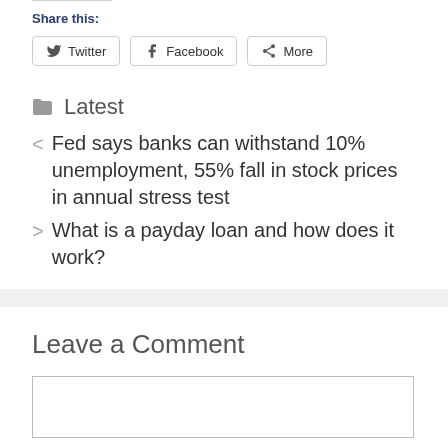Share this:
Twitter | Facebook | More
Latest
Fed says banks can withstand 10% unemployment, 55% fall in stock prices in annual stress test
What is a payday loan and how does it work?
Leave a Comment